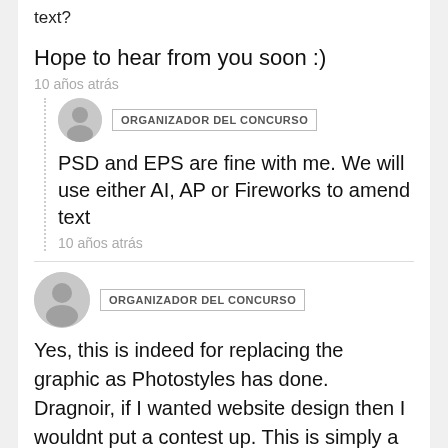text?
Hope to hear from you soon :)
10 años atrás
[Figure (other): User avatar placeholder icon]
ORGANIZADOR DEL CONCURSO
PSD and EPS are fine with me. We will use either AI, AP or Fireworks to amend text
10 años atrás
[Figure (other): User avatar placeholder icon]
ORGANIZADOR DEL CONCURSO
Yes, this is indeed for replacing the graphic as Photostyles has done. Dragnoir, if I wanted website design then I wouldnt put a contest up. This is simply a job of creating an alternative image to what is there now, one which reflects winter gardens or suggesting viewers should be buying gifts for